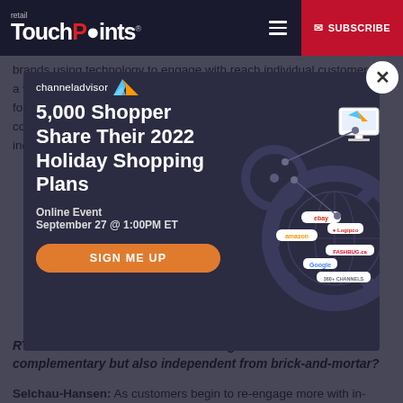retail TouchPoints® — SUBSCRIBE
brands using technology to engage with reach individual customer in a way that's relevant to them. Recent hits to purchase frequency and foot traffic have retailers rethink beyond the product, but also start connecting with customers, so they are prepared for when the industry rebounds with the broader rollout of the COVID vaccine.
[Figure (other): ChannelAdvisor modal popup overlay with title '5,000 Shopper Share Their 2022 Holiday Shopping Plans', Online Event, September 27 @ 1:00PM ET, SIGN ME UP button, and gear/globe/marketplace illustration]
RTP: What are the benefits of making offers and rewards complementary but also independent from brick-and-mortar?
Selchau-Hansen: As customers begin to re-engage more with in-person commerce, offers can